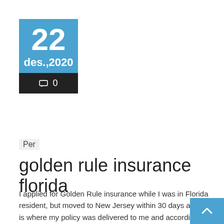[Figure (other): Date widget showing 22 des.,2020 with 0 comments on dark background]
Per
golden rule insurance florida
I applied for Golden Rule insurance while I was in Florida resident, but moved to New Jersey within 30 days and that is where my policy was delivered to me and according to Golden Rule Insurance wherever my policy is delivered deductible. According to Annual Form 10-K 12/31 UnitedHealthcare provides over 27 million Ameri